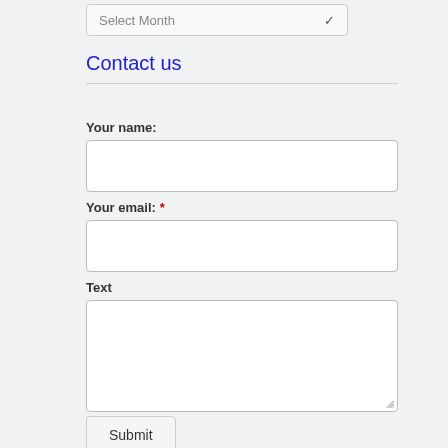Select Month
Contact us
Your name:
Your email: *
Text
Submit